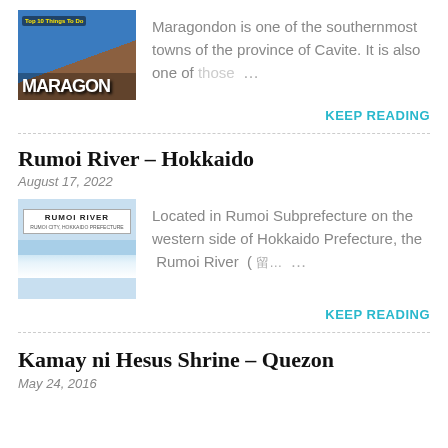[Figure (photo): Thumbnail image of Maragondon town sign with colorful text on a wall]
Maragondon is one of the southernmost towns of the province of Cavite. It is also one of those …
KEEP READING
Rumoi River – Hokkaido
August 17, 2022
[Figure (photo): Thumbnail image of Rumoi River sign and snowy riverbank in Hokkaido, Japan]
Located in Rumoi Subprefecture on the western side of Hokkaido Prefecture, the Rumoi River (留… …
KEEP READING
Kamay ni Hesus Shrine – Quezon
May 24, 2016